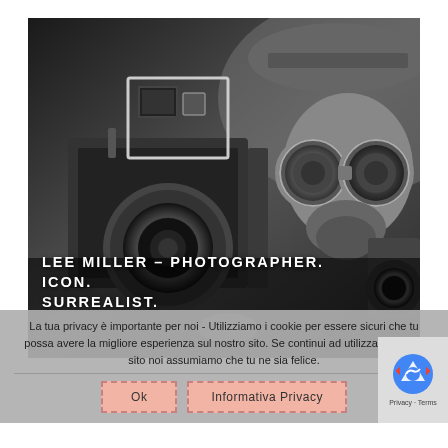[Figure (photo): Black and white photograph showing a vintage large format camera held up in the foreground and a person wearing a hat and gas mask goggles in the background right. The image has a dark, surrealist mood.]
LEE MILLER – PHOTOGRAPHER. ICON. SURREALIST.
La tua privacy è importante per noi - Utilizziamo i cookie per essere sicuri che tu possa avere la migliore esperienza sul nostro sito. Se continui ad utilizzare questo sito noi assumiamo che tu ne sia felice.
Ok
Informativa Privacy